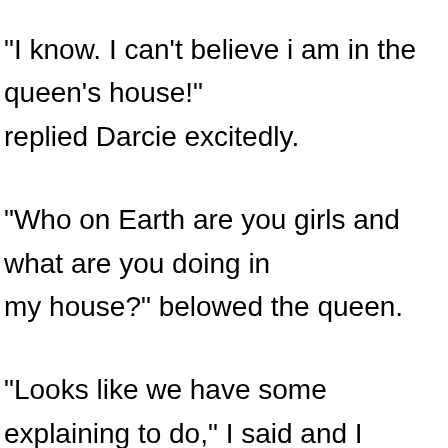"I know. I can't believe i am in the queen's house!" replied Darcie excitedly.
"Who on Earth are you girls and what are you doing in my house?" belowed the queen.
"Looks like we have some explaining to do," I said and I began telling the queen what happened. She sat back in amazement and offered us a chocolate biscuit which Maryam immediately accepted. Then to our surprise